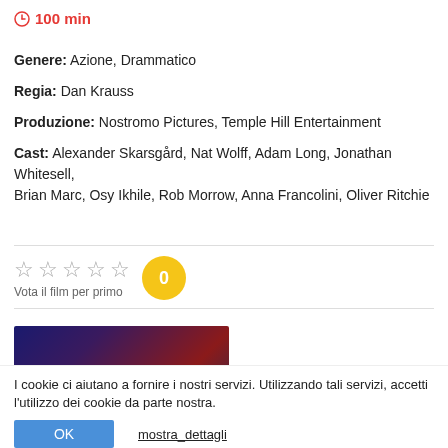100 min
Genere: Azione, Drammatico
Regia: Dan Krauss
Produzione: Nostromo Pictures, Temple Hill Entertainment
Cast: Alexander Skarsgård, Nat Wolff, Adam Long, Jonathan Whitesell, Brian Marc, Osy Ikhile, Rob Morrow, Anna Francolini, Oliver Ritchie
[Figure (infographic): Five empty star rating icons with label 'Vota il film per primo' and a yellow circle showing '0']
[Figure (photo): Movie still/poster showing two silhouettes with text 'WILL SMITH' repeated twice against a dark blue and red background]
I cookie ci aiutano a fornire i nostri servizi. Utilizzando tali servizi, accetti l'utilizzo dei cookie da parte nostra.
OK
mostra_dettagli